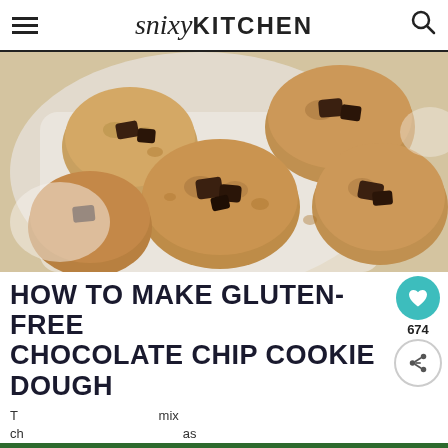snixyKITCHEN
[Figure (photo): Overhead view of gluten-free chocolate chip cookie dough balls on a white ceramic tray, studded with dark chocolate chunks, on a white marble surface]
HOW TO MAKE GLUTEN-FREE CHOCOLATE CHIP COOKIE DOUGH
T... mix... ch... as
[Figure (photo): Advertisement banner with hands making a heart shape and text LOVE > HATE on a green background]